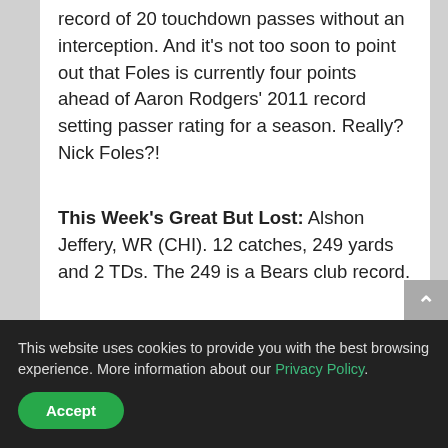record of 20 touchdown passes without an interception.  And it's not too soon to point out that Foles is currently four points ahead of Aaron Rodgers' 2011 record setting passer rating for a season.  Really?  Nick Foles?!
This Week's Great But Lost:  Alshon Jeffery, WR (CHI).  12 catches, 249 yards and 2 TDs.  The 249 is a Bears club record.
Poor Le'Veon Bell.  The Steelers running back
This website uses cookies to provide you with the best browsing experience. More information about our Privacy Policy.